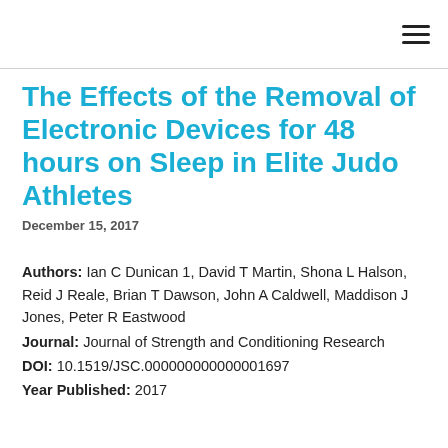The Effects of the Removal of Electronic Devices for 48 hours on Sleep in Elite Judo Athletes
December 15, 2017
Authors: Ian C Dunican 1, David T Martin, Shona L Halson, Reid J Reale, Brian T Dawson, John A Caldwell, Maddison J Jones, Peter R Eastwood
Journal: Journal of Strength and Conditioning Research
DOI: 10.1519/JSC.000000000000001697
Year Published: 2017